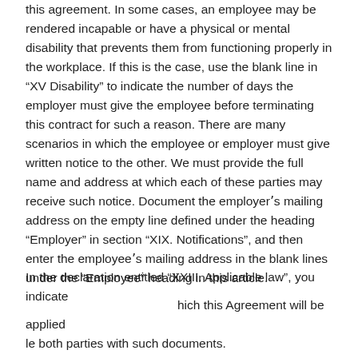this agreement. In some cases, an employee may be rendered incapable or have a physical or mental disability that prevents them from functioning properly in the workplace. If this is the case, use the blank line in “XV Disability” to indicate the number of days the employer must give the employee before terminating this contract for such a reason. There are many scenarios in which the employee or employer must give written notice to the other. We must provide the full name and address at which each of these parties may receive such notice. Document the employerʼs mailing address on the empty line defined under the heading “Employer” in section “XIX. Notifications”, and then enter the employeeʼs mailing address in the blank lines under the “Employee” heading in this article.
In the declaration entitled “XXIII. Applicable law”, you indicate which this Agreement will be applied le both parties with such documents. Job offer letters are an unofficial way to present candidates with basic terms and conditions of employment – without legal
[Figure (other): Blue button with envelope icon and text 'YÊU CẦU DEMO']